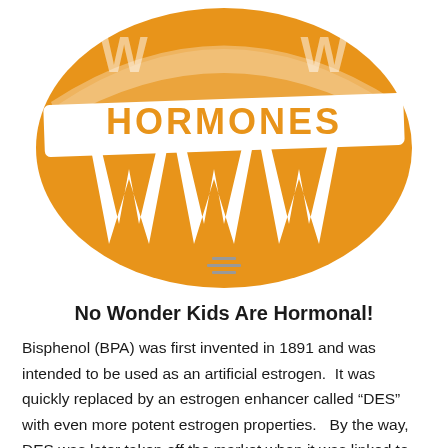[Figure (logo): Orange circular badge logo with the word HORMONES in white curved text across the middle, and stylized white letter W shapes on the badge.]
No Wonder Kids Are Hormonal!
Bisphenol (BPA) was first invented in 1891 and was intended to be used as an artificial estrogen.  It was quickly replaced by an estrogen enhancer called “DES” with even more potent estrogen properties.   By the way, DES was later taken off the market when it was linked to reproductive